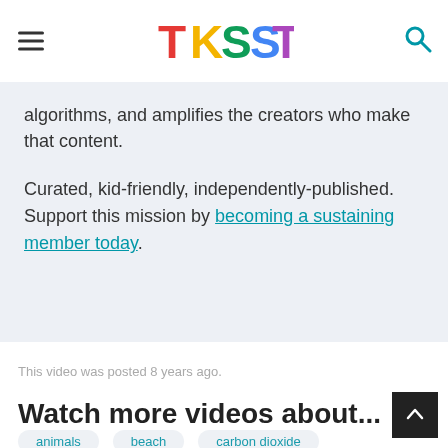TKSST
algorithms, and amplifies the creators who make that content.
Curated, kid-friendly, independently-published. Support this mission by becoming a sustaining member today.
This video was posted 8 years ago.
Watch more videos about...
animals
beach
carbon dioxide